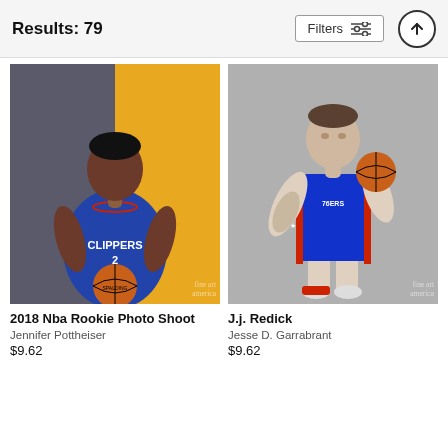Results: 79
Filters
[Figure (photo): NBA player in LA Clippers blue jersey (#2) holding a Spalding basketball, split background of grey and yellow]
2018 Nba Rookie Photo Shoot
Jennifer Pottheiser
$9.62
[Figure (photo): J.J. Redick in Philadelphia 76ers blue jersey holding a basketball in shooting stance, grey background]
J.j. Redick
Jesse D. Garrabrant
$9.62